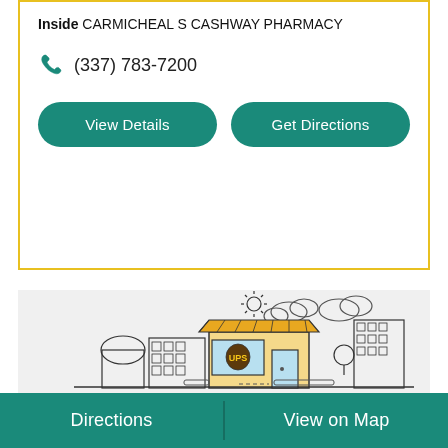Inside CARMICHEAL S CASHWAY PHARMACY
(337) 783-7200
View Details
Get Directions
[Figure (illustration): Line art illustration of a city streetscape featuring a UPS store in the center with yellow awning and storefront, flanked by various buildings, with clouds and sun in background]
Print, Ship, Pack and Send
All at One Convenient Location
Directions
View on Map